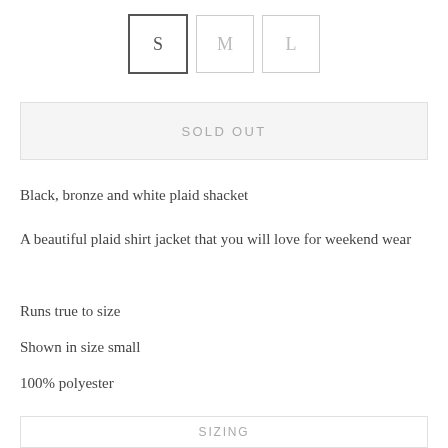[Figure (other): Size selector with three boxes: S (selected, dark border), M (unselected), L (unselected)]
SOLD OUT
Black, bronze and white plaid shacket
A beautiful plaid shirt jacket that you will love for weekend wear
Runs true to size
Shown in size small
100% polyester
Paired with our Charlie tee
SIZING